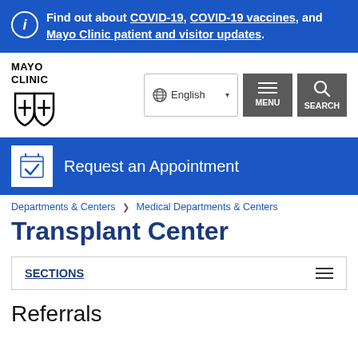Find out about COVID-19, COVID-19 vaccines, and Mayo Clinic patient and visitor updates.
[Figure (logo): Mayo Clinic logo with wordmark and shield emblem]
[Figure (screenshot): Navigation bar with English language selector, MENU button, and SEARCH button]
Request an Appointment
Departments & Centers > Medical Departments & Centers
Transplant Center
SECTIONS
Referrals